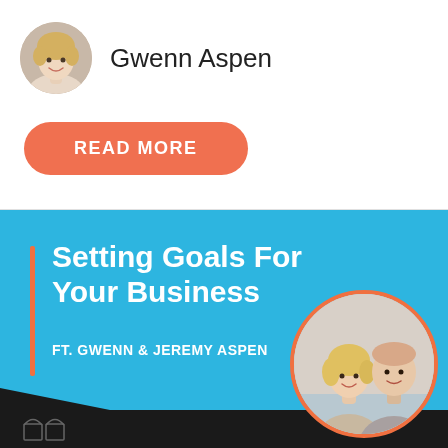[Figure (photo): Circular profile photo of Gwenn Aspen, a blonde woman smiling]
Gwenn Aspen
READ MORE
[Figure (illustration): Podcast episode banner with sky-blue background. Title: Setting Goals For Your Business. Subtitle: FT. GWENN & JEREMY ASPEN. Circular photo of a couple (Gwenn and Jeremy Aspen) on the right. Orange vertical bar accent on the left. Black diagonal area at the bottom with a Bootstrappers logo.]